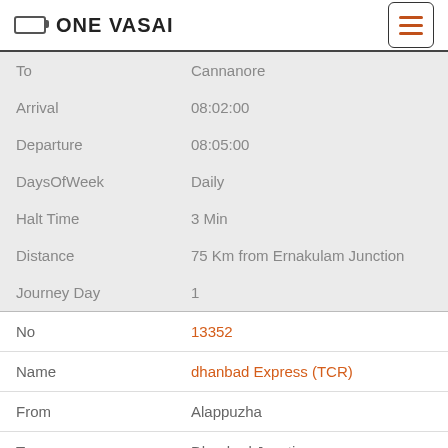ONE VASAI
| Field | Value |
| --- | --- |
| To | Cannanore |
| Arrival | 08:02:00 |
| Departure | 08:05:00 |
| DaysOfWeek | Daily |
| Halt Time | 3 Min |
| Distance | 75 Km from Ernakulam Junction |
| Journey Day | 1 |
| Field | Value |
| --- | --- |
| No | 13352 |
| Name | dhanbad Express (TCR) |
| From | Alappuzha |
| To | Dhanbad Junction |